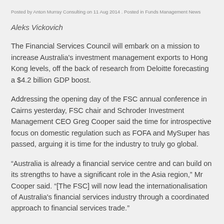Posted by Anton Murray Consulting on 11 Aug 2014 . Posted in Funds Management News
Aleks Vickovich
The Financial Services Council will embark on a mission to increase Australia's investment management exports to Hong Kong levels, off the back of research from Deloitte forecasting a $4.2 billion GDP boost.
Addressing the opening day of the FSC annual conference in Cairns yesterday, FSC chair and Schroder Investment Management CEO Greg Cooper said the time for introspective focus on domestic regulation such as FOFA and MySuper has passed, arguing it is time for the industry to truly go global.
“Australia is already a financial service centre and can build on its strengths to have a significant role in the Asia region,” Mr Cooper said. “[The FSC] will now lead the internationalisation of Australia's financial services industry through a coordinated approach to financial services trade.”